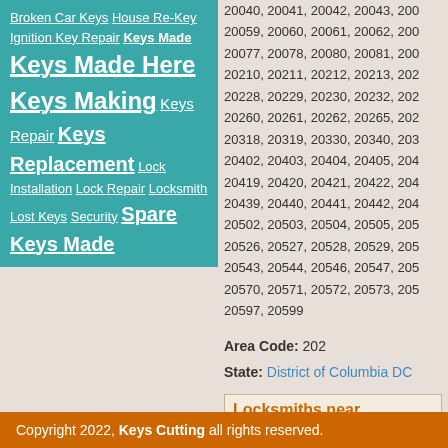Broken Car Keys House Re-Key Ignition Key Repair Keys Made Keys Made Here Keys Making Keys Repair Keys Replacement Lock Installation Lock Repair Locksmith Lost Keys Security Spare Keys Made
20040, 20041, 20042, 20043, 20059, 20060, 20061, 20062, 20077, 20078, 20080, 20081, 20210, 20211, 20212, 20213, 20228, 20229, 20230, 20232, 20260, 20261, 20262, 20265, 20318, 20319, 20330, 20340, 20402, 20403, 20404, 20405, 20419, 20420, 20421, 20422, 20439, 20440, 20441, 20442, 20502, 20503, 20504, 20505, 20526, 20527, 20528, 20529, 20543, 20544, 20546, 20547, 20570, 20571, 20572, 20573, 20597, 20599
Area Code: 202
State: District of Columbia DC
Locksmiths near Washington...
Copyright 2022, Keys Cutting all rights reserved.